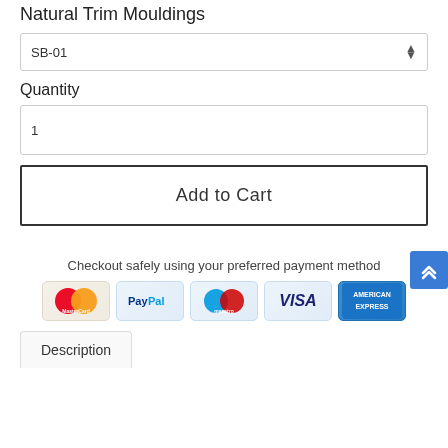Natural Trim Mouldings
SB-01
Quantity
1
Add to Cart
Checkout safely using your preferred payment method
[Figure (logo): Payment method icons: MasterCard, PayPal, Maestro, VISA, American Express]
Description